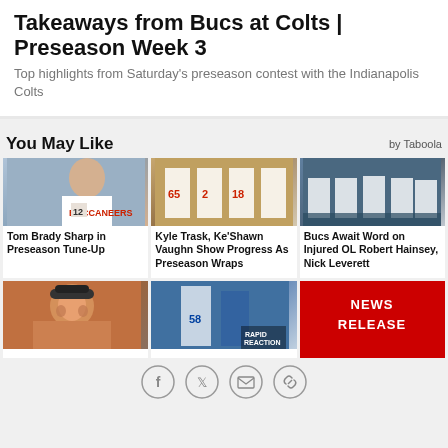Takeaways from Bucs at Colts | Preseason Week 3
Top highlights from Saturday's preseason contest with the Indianapolis Colts
You May Like
by Taboola
[Figure (photo): Tom Brady in white Buccaneers uniform]
Tom Brady Sharp in Preseason Tune-Up
[Figure (photo): Buccaneers players huddling on field]
Kyle Trask, Ke'Shawn Vaughn Show Progress As Preseason Wraps
[Figure (photo): Buccaneers offensive line at scrimmage]
Bucs Await Word on Injured OL Robert Hainsey, Nick Leverett
[Figure (photo): Red-bearded player in headband]
[Figure (photo): Rapid Reaction game photo with Colts player]
[Figure (other): News Release red banner]